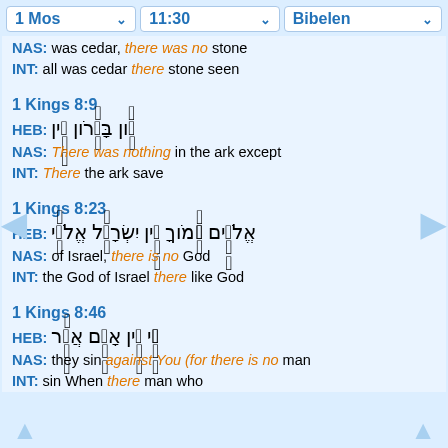1 Mos | 11:30 | Bibelen
NAS: was cedar, there was no stone
INT: all was cedar there stone seen
1 Kings 8:9
HEB: [Hebrew text]
NAS: There was nothing in the ark except
INT: There the ark save
1 Kings 8:23
HEB: [Hebrew text]
NAS: of Israel, there is no God
INT: the God of Israel there like God
1 Kings 8:46
HEB: [Hebrew text]
NAS: they sin against You (for there is no man
INT: sin When there man who